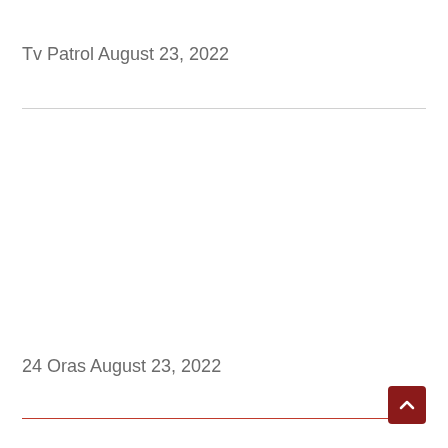Tv Patrol August 23, 2022
24 Oras August 23, 2022